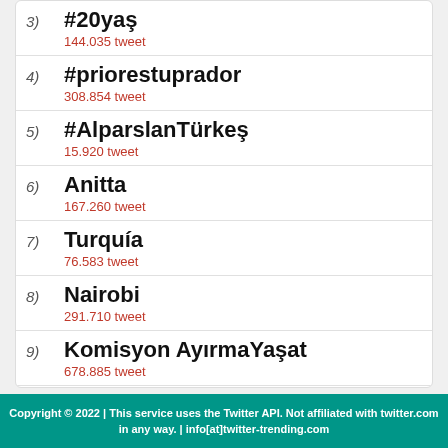3) #20yaş — 144.035 tweet
4) #priorestuprador — 308.854 tweet
5) #AlparslanTürkeş — 15.920 tweet
6) Anitta — 167.260 tweet
7) Turquía — 76.583 tweet
8) Nairobi — 291.710 tweet
9) Komisyon AyırmaYaşat — 678.885 tweet
10) Diego e Arnaldo
Copyright © 2022 | This service uses the Twitter API. Not affiliated with twitter.com in any way. | info[at]twitter-trending.com